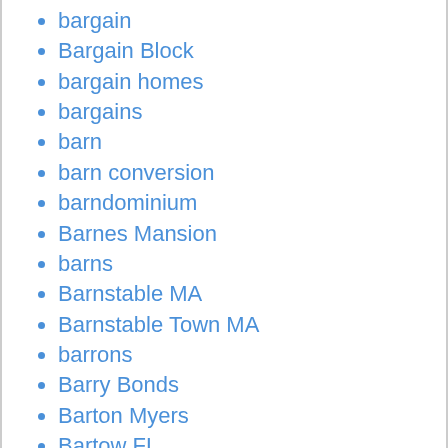bargain
Bargain Block
bargain homes
bargains
barn
barn conversion
barndominium
Barnes Mansion
barns
Barnstable MA
Barnstable Town MA
barrons
Barry Bonds
Barton Myers
Bartow FL
Baseball
basement
Basketball
basketball court